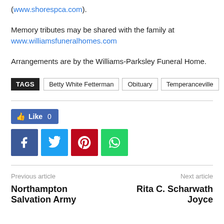(www.shorespca.com).
Memory tributes may be shared with the family at www.williamsfuneralhomes.com
Arrangements are by the Williams-Parksley Funeral Home.
TAGS: Betty White Fetterman | Obituary | Temperanceville
[Figure (infographic): Facebook Like button showing 0 likes, followed by social sharing icons for Facebook, Twitter, Pinterest, and WhatsApp]
Previous article | Next article
Northampton Salvation Army | Rita C. Scharwath Joyce